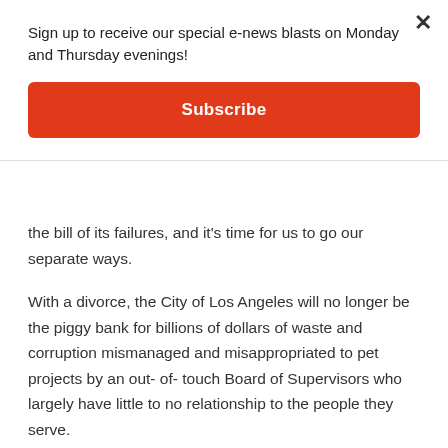Sign up to receive our special e-news blasts on Monday and Thursday evenings!
Subscribe
the bill of its failures, and it's time for us to go our separate ways.
With a divorce, the City of Los Angeles will no longer be the piggy bank for billions of dollars of waste and corruption mismanaged and misappropriated to pet projects by an out- of- touch Board of Supervisors who largely have little to no relationship to the people they serve.
While thousands die on the street, the county refused to show up to court to defend itself.